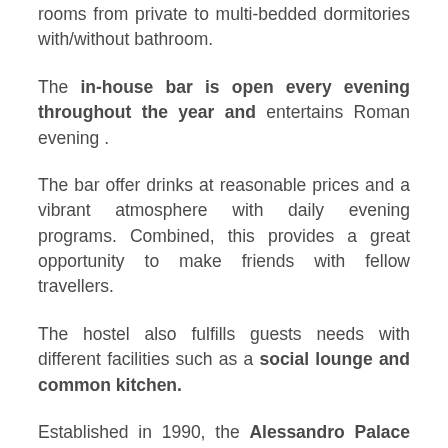rooms from private to multi-bedded dormitories with/without bathroom.
The in-house bar is open every evening throughout the year and entertains Roman evening .
The bar offer drinks at reasonable prices and a vibrant atmosphere with daily evening programs. Combined, this provides a great opportunity to make friends with fellow travellers.
The hostel also fulfills guests needs with different facilities such as a social lounge and common kitchen.
Established in 1990, the Alessandro Palace Hostel has become one of the most popular hostels in Rome for backpackers &